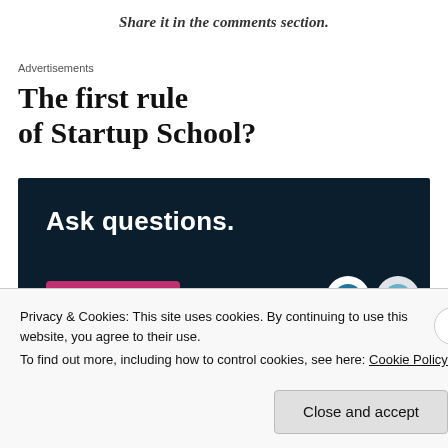Share it in the comments section.
Advertisements
The first rule of Startup School?
[Figure (other): Dark navy advertisement banner with white bold text 'Ask questions.' and a pink 'Start a survey' button at the bottom left, WordPress and another logo at the bottom right.]
Privacy & Cookies: This site uses cookies. By continuing to use this website, you agree to their use.
To find out more, including how to control cookies, see here: Cookie Policy
Close and accept